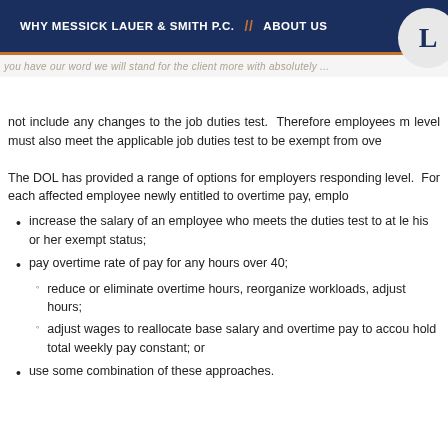WHY MESSICK LAUER & SMITH P.C.  //  ABOUT US
not include any changes to the job duties test.  Therefore employees must also meet the applicable job duties test to be exempt from overtime pay.
The DOL has provided a range of options for employers responding to the new salary level.  For each affected employee newly entitled to overtime pay, employers may:
increase the salary of an employee who meets the duties test to at least the new level to maintain his or her exempt status;
pay overtime rate of pay for any hours over 40;
reduce or eliminate overtime hours, reorganize workloads, adjust scheduling to control overtime hours;
adjust wages to reallocate base salary and overtime pay to account for overtime hours and hold total weekly pay constant; or
use some combination of these approaches.